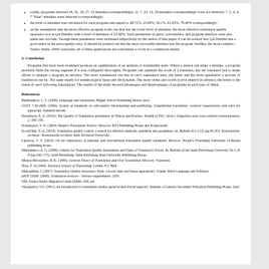totally, programs detected 28, 32, 18, 27, 15 mistakes correspondingly; 11, 7, 23, 12, 24 mistakes correspondingly were not detected; 7, 2, 0, 4, 7 "false" mistakes were detected correspondingly;
the level of mistakes was calculated for each program and equals to 48.72%, 23.08%, 56.1%, 41.03%, 79.49% correspondingly;
on the assumption that the most effective program is the one that has the lower level of mistakes, the most effective translation quality assurance tool is QA Distiller with a level of mistakes of 23.08%. Such parameters as price, convenience, and program interface were also taken into account. Though these parameters were evaluated subjectively by the author of this paper, it can be noticed that QA Distiller has a good index in the price/quality ratio. It should be pointed out that the most successful interface has the program Verifika, the most complex – Trados Studio 2009. Generally, all of these applications are convenient to work in a continuous matter.
3. Conclusion
Programs that have been examined promote an optimization of an analysis of translatable texts. Where a person can make a mistake, a program precisely finds the wrong segment if it was configured thoroughly. Programs can optimize the work of a translator, but the translator has to make efforts to prepare a program in advance. The more translations one has in one's translation base, the faster and the more qualitative a process of translation can be. The same stands for terminological bases and dictionaries. The more terms and words you've entered in advance, the better is the result of one's following translations. The results of the study showed advantages and disadvantages of programs in each type of check.
References
Barkhudarov, L. S. (2008). Language and translation. Higher School Publishing House. (rus)
GOST 7.36-2006. (2006). System of standards on information librarianship and publishing. Unpublished translation. General requirements and rules for typescript. Standard-inform.
Knyazheva, E. A. (2010). The Quality of Translation assessment: in Theory and Practice. Vestnik of TSU. Series: Linguistics and cross-cultural communication, 2, 190–195.
Komissarov, V. N. (2004). Modern Translation Science. Moscow: BTS Publishing House and Poliglossum.
Kovalchuk, E. A. (2010). Translation quality control: a search for effective methods, standards and parameters. In: Bulletin 811-2 (2) (pp.81–85). Komsomolsk-on-Amur: Komsomolsk-on-Amur State Technical University.
Lipatova, V. V. (2010). On the importance of national and international translation quality standards. Moscow: People's Friendship University of Russia publishing house.
Minchankov, A. G. (2008). Criteria for Translation Quality Assessment and Types of Translator's Errors. In: Bulletin of the Saint-Petersburg University No 2, P. N (pp.166–175). Saint-Petersburg: Saint-Petersburg State University Publishing House.
Minyar-Beloruchev, R. K. (1999). General Theory of Translation and Oral Translation. Moscow: Voenizdat.
Nida, E. A (1964). Toward a Science of Translating. Leiden: E.J. Brill.
Makoushina, J. (2007). Translation Quality Assurance Tools: current state and future approaches. Tomsk: Palex Language and Software.
prEN 15038. (2006). Translation services – Service requirements. CEN.
SDL Trados Studio Migration Guide (2009). SDL plc
Vinogradov, V.S. (2001). An introduction to translation studies (general and lexical aspects). Institute of General Secondary Education Publishing House. (rus)